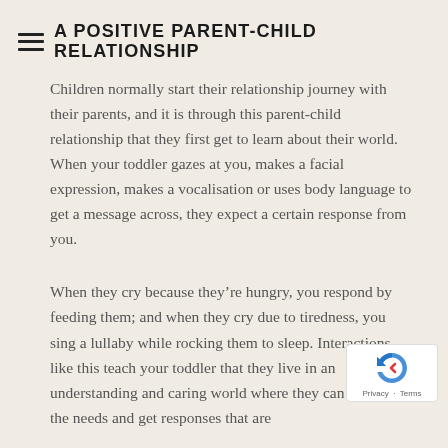A POSITIVE PARENT-CHILD RELATIONSHIP
Children normally start their relationship journey with their parents, and it is through this parent-child relationship that they first get to learn about their world. When your toddler gazes at you, makes a facial expression, makes a vocalisation or uses body language to get a message across, they expect a certain response from you.
When they cry because they’re hungry, you respond by feeding them; and when they cry due to tiredness, you sing a lullaby while rocking them to sleep. Interactions like this teach your toddler that they live in an understanding and caring world where they can express the needs and get responses that are